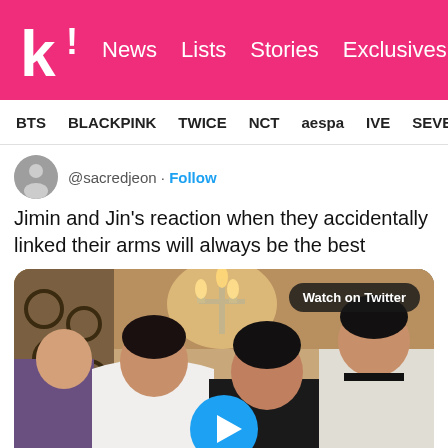k! News Lists Stories Exclusives [search]
BTS  BLACKPINK  TWICE  NCT  aespa  IVE  SEVE
@sacredjeon · Follow
Jimin and Jin's reaction when they accidentally linked their arms will always be the best
[Figure (screenshot): Twitter video thumbnail showing BTS members standing together in a room with decorative ironwork and a candelabra. A 'Watch on Twitter' label appears in the top right and a blue play button is centered at the bottom.]